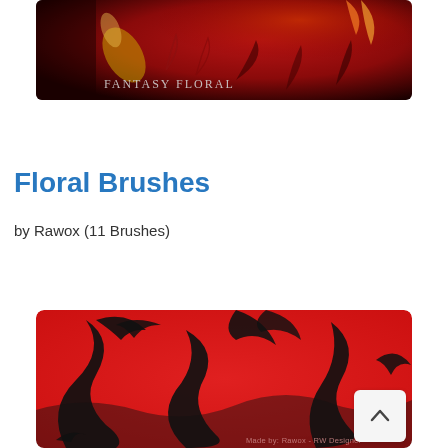[Figure (illustration): Fantasy Floral decorative image with dark red background, swirling golden and orange floral elements, and the text 'Fantasy Floral' in the lower left.]
Floral Brushes
by Rawox (11 Brushes)
[Figure (illustration): Red background with black decorative floral brush strokes in an ornate swirling pattern. Text in lower right reads 'Made by: Rawox - RW Designer'.]